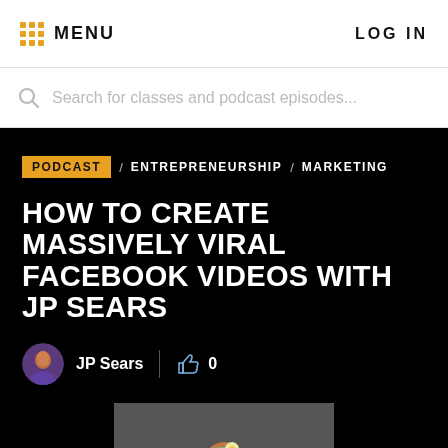MENU | LOG IN
Search for classes and podcast episodes...
PODCAST / ENTREPRENEURSHIP / MARKETING
HOW TO CREATE MASSIVELY VIRAL FACEBOOK VIDEOS WITH JP SEARS
JP Sears  0
[Figure (photo): Person wearing a green headband with a flower, with long brown hair, wearing a purple shirt, against a dark background]